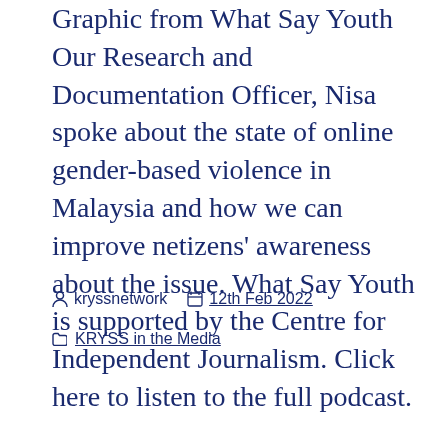Graphic from What Say Youth Our Research and Documentation Officer, Nisa spoke about the state of online gender-based violence in Malaysia and how we can improve netizens’ awareness about the issue. What Say Youth is supported by the Centre for Independent Journalism. Click here to listen to the full podcast.
kryssnetwork  12th Feb 2022
KRYSS in the Media